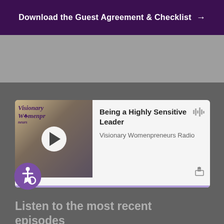Download the Guest Agreement & Checklist →
[Figure (screenshot): Podcast player card showing episode 'Being a Highly Sensitive Leader' from Visionary Womenpreneurs Radio with play button, waveform icon, share icon, and purple progress bar]
[Figure (illustration): Accessibility icon - person in wheelchair symbol in a purple circle]
Listen to the most recent episodes
New episodes come out every couple of weeks – featuring incredible womenpreneurs